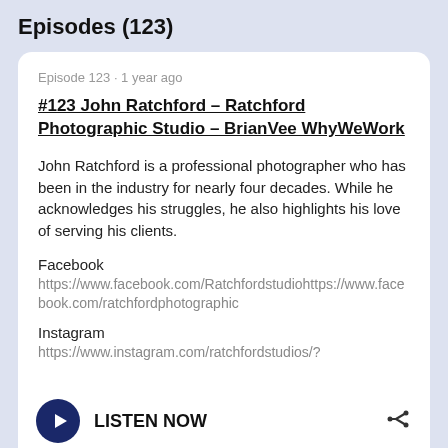Episodes (123)
Episode 123 · 1 year ago
#123 John Ratchford – Ratchford Photographic Studio – BrianVee WhyWeWork
John Ratchford is a professional photographer who has been in the industry for nearly four decades. While he acknowledges his struggles, he also highlights his love of serving his clients.
Facebook
https://www.facebook.com/Ratchfordstudiohttps://www.facebook.com/ratchfordphotographic
Instagram
https://www.instagram.com/ratchfordstudios/?
LISTEN NOW